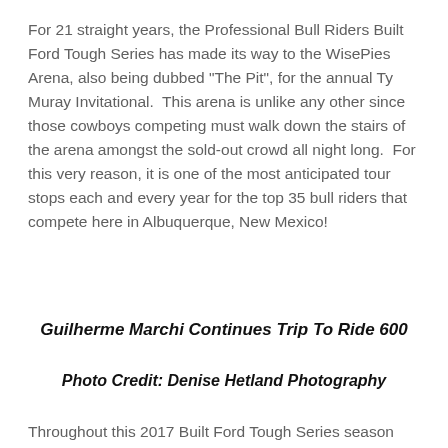For 21 straight years, the Professional Bull Riders Built Ford Tough Series has made its way to the WisePies Arena, also being dubbed "The Pit", for the annual Ty Muray Invitational.  This arena is unlike any other since those cowboys competing must walk down the stairs of the arena amongst the sold-out crowd all night long.  For this very reason, it is one of the most anticipated tour stops each and every year for the top 35 bull riders that compete here in Albuquerque, New Mexico!
Guilherme Marchi Continues Trip To Ride 600
Photo Credit: Denise Hetland Photography
Throughout this 2017 Built Ford Tough Series season